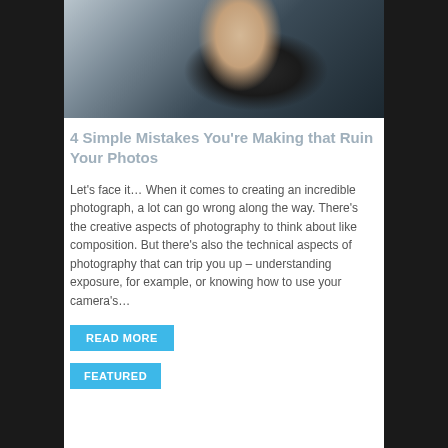[Figure (photo): Man holding a DSLR camera up to take a photo, close-up shot]
4 Simple Mistakes You're Making that Ruin Your Photos
Let's face it… When it comes to creating an incredible photograph, a lot can go wrong along the way. There's the creative aspects of photography to think about like composition. But there's also the technical aspects of photography that can trip you up – understanding exposure, for example, or knowing how to use your camera's…
READ MORE
FEATURED